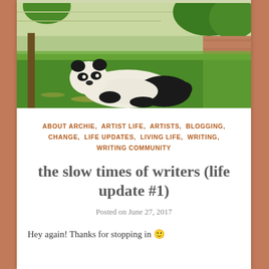[Figure (photo): A giant panda lying on green grass in an enclosure, with trees and a brick wall in the background.]
ABOUT ARCHIE, ARTIST LIFE, ARTISTS, BLOGGING, CHANGE, LIFE UPDATES, LIVING LIFE, WRITING, WRITING COMMUNITY
the slow times of writers (life update #1)
Posted on June 27, 2017
Hey again! Thanks for stopping in 🙂